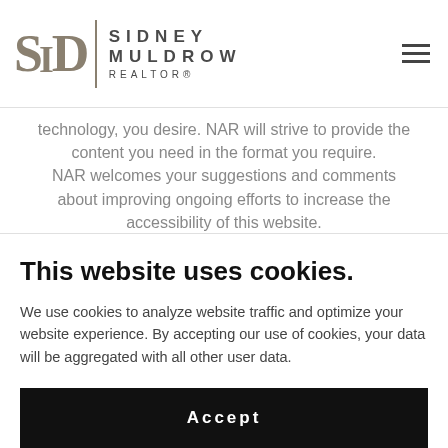SIDNEY MULDROW REALTOR®
technology, you desire. NAR will strive to provide the content you need in the format you require. NAR welcomes your suggestions and comments about improving ongoing efforts to increase the accessibility of this website. Read more from NAR on physical accessibility and the real estate industry.
This website uses cookies.
We use cookies to analyze website traffic and optimize your website experience. By accepting our use of cookies, your data will be aggregated with all other user data.
Accept